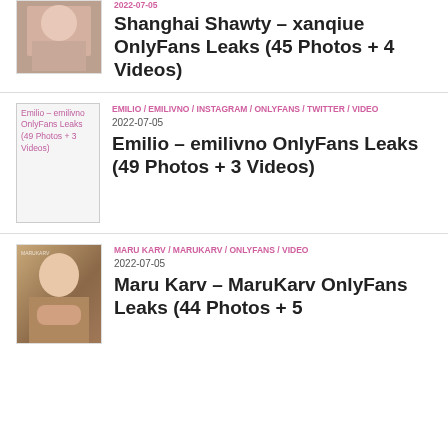[Figure (photo): Thumbnail image cropped at top]
Shanghai Shawty – xanqiue OnlyFans Leaks (45 Photos + 4 Videos)
[Figure (photo): Broken image placeholder for Emilio – emilivno OnlyFans Leaks (49 Photos + 3 Videos)]
EMILIO / EMILIVNO / INSTAGRAM / ONLYFANS / TWITTER / VIDEO
2022-07-05
Emilio – emilivno OnlyFans Leaks (49 Photos + 3 Videos)
[Figure (photo): Thumbnail of Maru Karv]
MARU KARV / MARUKARV / ONLYFANS / VIDEO
2022-07-05
Maru Karv – MaruKarv OnlyFans Leaks (44 Photos + 5